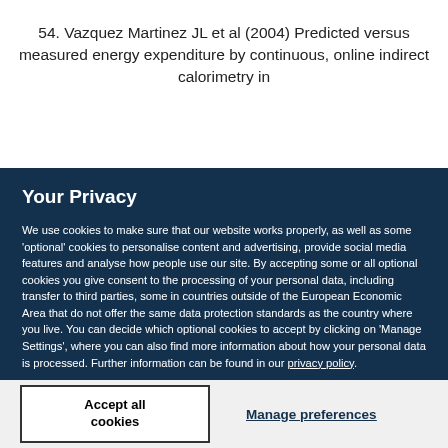54. Vazquez Martinez JL et al (2004) Predicted versus measured energy expenditure by continuous, online indirect calorimetry in
Your Privacy
We use cookies to make sure that our website works properly, as well as some ‘optional’ cookies to personalise content and advertising, provide social media features and analyse how people use our site. By accepting some or all optional cookies you give consent to the processing of your personal data, including transfer to third parties, some in countries outside of the European Economic Area that do not offer the same data protection standards as the country where you live. You can decide which optional cookies to accept by clicking on ‘Manage Settings’, where you can also find more information about how your personal data is processed. Further information can be found in our privacy policy.
Accept all cookies
Manage preferences